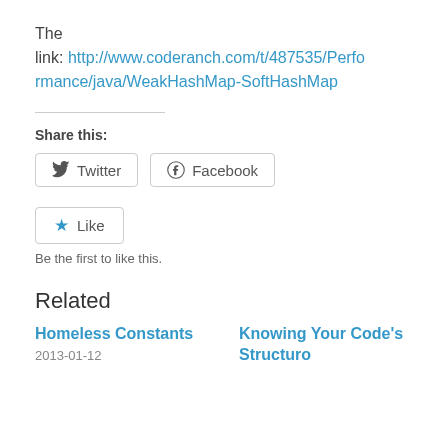The link: http://www.coderanch.com/t/487535/Performance/java/WeakHashMap-SoftHashMap
Share this:
[Figure (other): Twitter and Facebook share buttons]
[Figure (other): Like button with star icon]
Be the first to like this.
Related
Homeless Constants
2013-01-12
Knowing Your Code's Structure